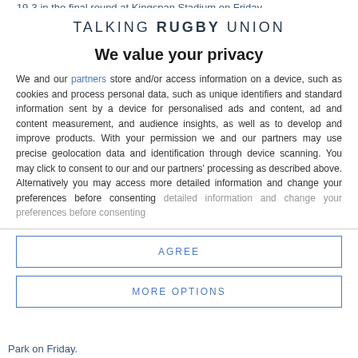...19-3 in the final round at Kingspan Stadium on Friday.
[Figure (logo): Talking Rugby Union logo — stylized uppercase text: TALKING RUGBY UNION]
We value your privacy
We and our partners store and/or access information on a device, such as cookies and process personal data, such as unique identifiers and standard information sent by a device for personalised ads and content, ad and content measurement, and audience insights, as well as to develop and improve products. With your permission we and our partners may use precise geolocation data and identification through device scanning. You may click to consent to our and our partners' processing as described above. Alternatively you may access more detailed information and change your preferences before consenting
AGREE
MORE OPTIONS
Park on Friday.